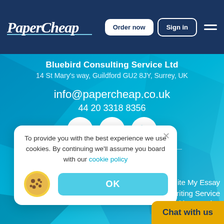PaperCheap — Order now | Sign in
Bluebird Consulting Service Ltd
14 St Mary's way, Guildford GU2 8JY, Surrey, UK
info@papercheap.co.uk
44 20 3318 8356
[Figure (other): Social media icons: Google+, Facebook, Twitter]
Navigation
ite My Essay
on Writing Service
ent Writing Service
Writing Service
To provide you with the best experience we use cookies. By continuing we'll assume you board with our cookie policy
OK
Chat with us